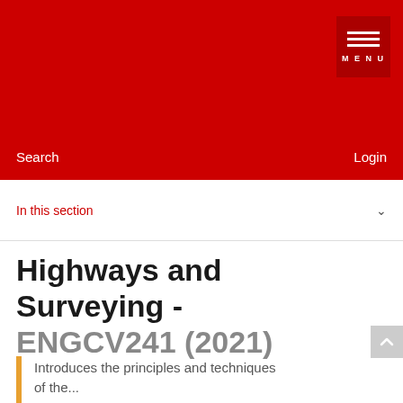MENU
Search   Login
In this section
Highways and Surveying - ENGCV241 (2021)
Introduces the principles and techniques of the ...